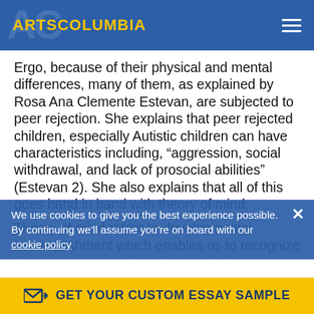ARTSCOLUMBIA
Ergo, because of their physical and mental differences, many of them, as explained by Rosa Ana Clemente Estevan, are subjected to peer rejection. She explains that peer rejected children, especially Autistic children can have characteristics including, “aggression, social withdrawal, and lack of prosocial abilities” (Estevan 2). She also explains that all of this goes hand in hand with theory of mind.
Theory of mind refers to developmental accomplishment which enables us to recognize that not everyone views the world the same as we do. Since understanding theory of mind is important to social interactions, Estevan urges us to look at it from a cultural point of view. This makes us look at it from a
We use cookies to give you the best experience possible. By continuing we’ll assume you’re on board with our cookie policy
GET YOUR CUSTOM ESSAY SAMPLE